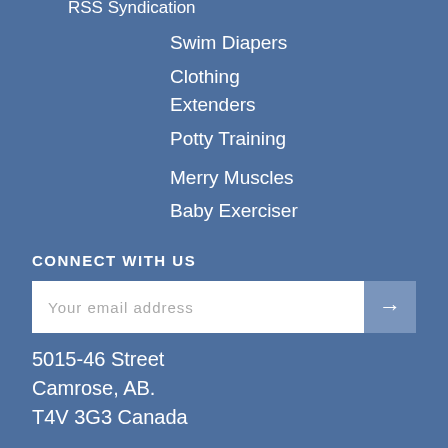RSS Syndication
Swim Diapers
Clothing
Extenders
Potty Training
Merry Muscles
Baby Exerciser
CONNECT WITH US
Your email address
5015-46 Street
Camrose, AB.
T4V 3G3 Canada